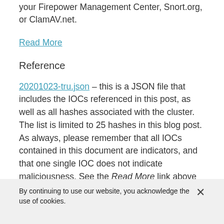your Firepower Management Center, Snort.org, or ClamAV.net.
Read More
Reference
20201023-tru.json – this is a JSON file that includes the IOCs referenced in this post, as well as all hashes associated with the cluster. The list is limited to 25 hashes in this blog post. As always, please remember that all IOCs contained in this document are indicators, and that one single IOC does not indicate maliciousness. See the Read More link above for more details.
By continuing to use our website, you acknowledge the use of cookies.